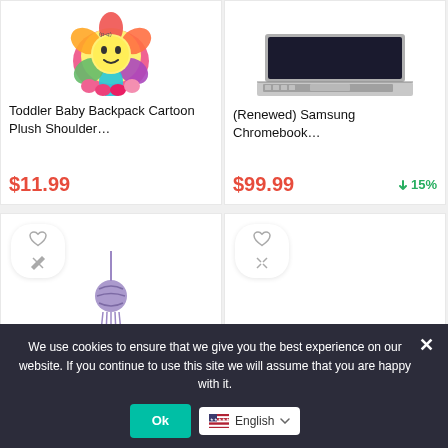[Figure (photo): Toddler baby backpack cartoon plush toy product image (colorful flower-shaped plush)]
Toddler Baby Backpack Cartoon Plush Shoulder…
$11.99
[Figure (photo): Samsung Chromebook laptop product image (silver laptop)]
(Renewed) Samsung Chromebook…
$99.99
↓ 15%
[Figure (photo): Purple decorative tassel/charm product image]
[Figure (photo): Second bottom product card with no visible product image]
We use cookies to ensure that we give you the best experience on our website. If you continue to use this site we will assume that you are happy with it.
Ok
English